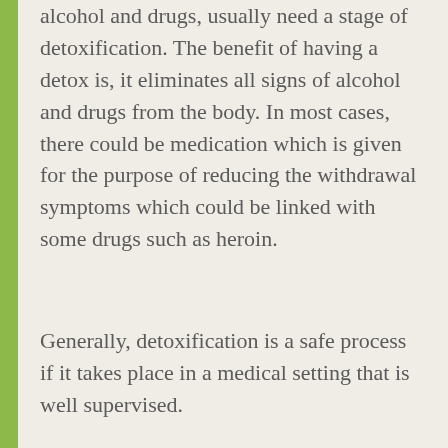alcohol and drugs, usually need a stage of detoxification. The benefit of having a detox is, it eliminates all signs of alcohol and drugs from the body. In most cases, there could be medication which is given for the purpose of reducing the withdrawal symptoms which could be linked with some drugs such as heroin.
Generally, detoxification is a safe process if it takes place in a medical setting that is well supervised.
REHABILITATION
After the individual has gone through the detoxification stage, the next phase is having to go through rehabilitation. This is the point where